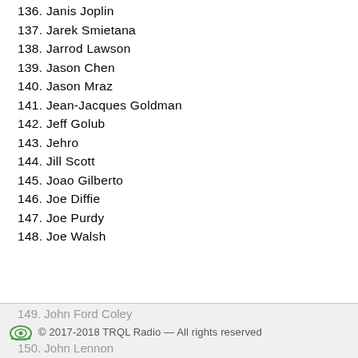136. Janis Joplin
137. Jarek Smietana
138. Jarrod Lawson
139. Jason Chen
140. Jason Mraz
141. Jean-Jacques Goldman
142. Jeff Golub
143. Jehro
144. Jill Scott
145. Joao Gilberto
146. Joe Diffie
147. Joe Purdy
148. Joe Walsh
149. John Ford Coley
© 2017-2018 TRQL Radio — All rights reserved
150. John Lennon